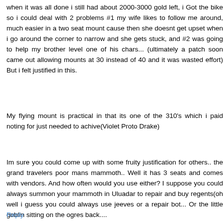when it was all done i still had about 2000-3000 gold left, i Got the bike so i could deal with 2 problems #1 my wife likes to follow me around, much easier in a two seat mount cause then she doesnt get upset when i go around the corner to narrow and she gets stuck, and #2 was going to help my brother level one of his chars... (ultimately a patch soon came out allowing mounts at 30 instead of 40 and it was wasted effort) But i felt justified in this.
My flying mount is practical in that its one of the 310's which i paid noting for just needed to achive(Violet Proto Drake)
Im sure you could come up with some fruity justification for others.. the grand travelers poor mans mammoth.. Well it has 3 seats and comes with vendors. And how often would you use either? I suppose you could always summon your mammoth in Uluadar to repair and buy regents(oh well i guess you could always use jeeves or a repair bot... Or the little goblin sitting on the ogres back....
Reply